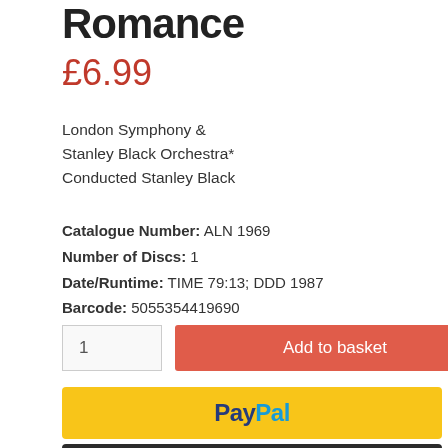Romance
£6.99
London Symphony &
Stanley Black Orchestra*
Conducted Stanley Black
Catalogue Number: ALN 1969
Number of Discs: 1
Date/Runtime: TIME 79:13; DDD 1987
Barcode: 5055354419690
1
Add to basket
PayPal
[Figure (other): Dark payment button with credit card icon]